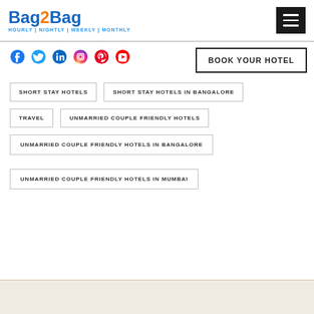Bag2Bag — HOURLY | NIGHTLY | WEEKLY | MONTHLY
[Figure (logo): Bag2Bag logo with tagline HOURLY | NIGHTLY | WEEKLY | MONTHLY]
[Figure (infographic): Social media icons: Facebook, Twitter, LinkedIn, Instagram, Pinterest, YouTube]
BOOK YOUR HOTEL
SHORT STAY HOTELS
SHORT STAY HOTELS IN BANGALORE
TRAVEL
UNMARRIED COUPLE FRIENDLY HOTELS
UNMARRIED COUPLE FRIENDLY HOTELS IN BANGALORE
UNMARRIED COUPLE FRIENDLY HOTELS IN MUMBAI